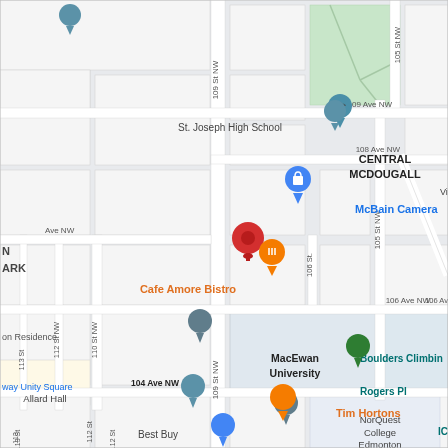[Figure (map): Google Maps view of Edmonton, Alberta showing streets including 109 Ave NW, 108 Ave NW, 106 Ave NW, 104 Ave NW, 109 St NW, 110 St NW, 112 St NW, 113 St, 106 St, 105 St NW. Landmarks shown include St. Joseph High School, CENTRAL MCDOUGALL neighborhood, McBain Camera, Cafe Amore Bistro (red pin), MacEwan University, Boulders Climbing, Rogers Pl, Allard Hall, Tim Hortons, Best Buy, NorQuest College Edmonton. A green park area is visible in the upper right.]